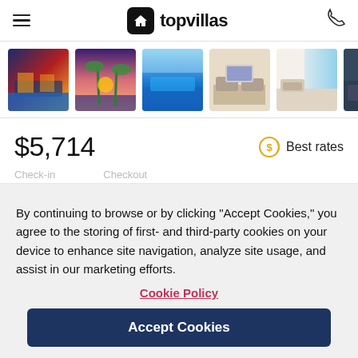[Figure (logo): Topvillas logo with house icon and wordmark 'topvillas']
[Figure (photo): Horizontal strip of 6 villa property thumbnail photos showing pool, sunset, ocean view, living room, and interior scenes]
$5,714
Best rates
By continuing to browse or by clicking “Accept Cookies,” you agree to the storing of first- and third-party cookies on your device to enhance site navigation, analyze site usage, and assist in our marketing efforts.
Cookie Policy
Accept Cookies